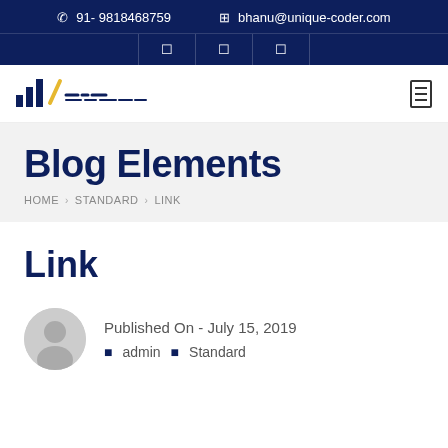91- 9818468759   bhanu@unique-coder.com
[Figure (logo): Unique Coder logo with signal bars icon and diagonal yellow accent, followed by dashed text logo]
Blog Elements
HOME › STANDARD › LINK
Link
Published On - July 15, 2019
admin   Standard